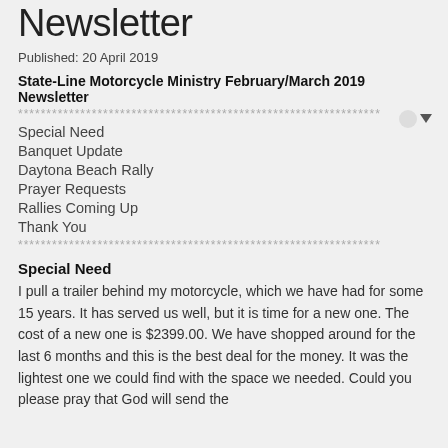Newsletter
Published: 20 April 2019
State-Line Motorcycle Ministry February/March 2019 Newsletter
****************************************************************
Special Need
Banquet Update
Daytona Beach Rally
Prayer Requests
Rallies Coming Up
Thank You
****************************************************************
Special Need
I pull a trailer behind my motorcycle, which we have had for some 15 years. It has served us well, but it is time for a new one. The cost of a new one is $2399.00. We have shopped around for the last 6 months and this is the best deal for the money. It was the lightest one we could find with the space we needed. Could you please pray that God will send the